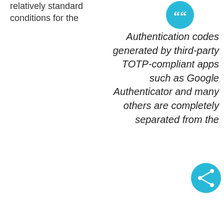relatively standard conditions for the
[Figure (illustration): Teal/cyan circle with white double-quote (66) icon]
Authentication codes generated by third-party TOTP-compliant apps such as Google Authenticator and many others are completely separated from the
[Figure (illustration): Teal/cyan circle with white share/network icon]